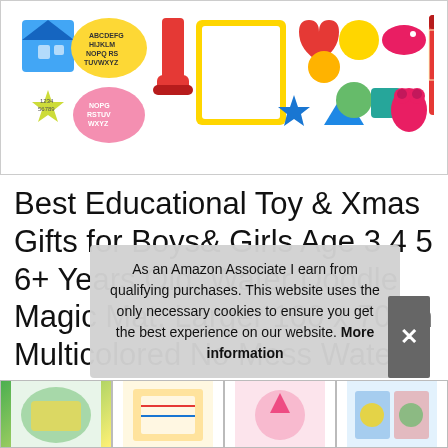[Figure (photo): Product image showing water doodle mat components: alphabet stencils, roller, blank canvas board, shape stamps (heart, circle, triangle, star, bear), and colored magic pens on a white background.]
Best Educational Toy & Xmas Gifts for Boys& Girls Age 3 4 5 6+ Years Old, Water Doodle Magic Mat, Larger 100 x 70cm Multicolored No Mess Water Drawing Painting Pad with 3 Magic Pe
As an Amazon Associate I earn from qualifying purchases. This website uses the only necessary cookies to ensure you get the best experience on our website. More information
[Figure (photo): Thumbnail images of water doodle mat products at the bottom of the page.]